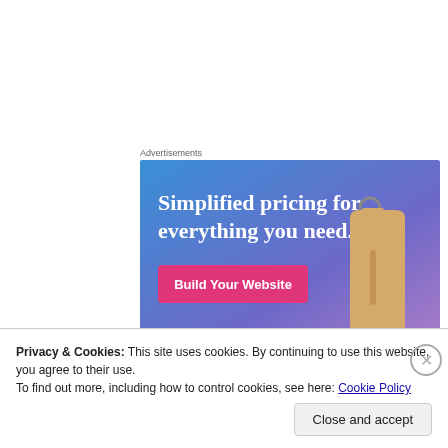Advertisements
[Figure (illustration): Advertisement banner with blue-to-purple gradient background. Large white serif text reads 'Simplified pricing for everything you need.' A pink/magenta button labeled 'Build Your Website' is shown on the left. A 3D price tag object is shown on the right.]
They threw away fresh starts, new friendships, amazing
Privacy & Cookies: This site uses cookies. By continuing to use this website, you agree to their use.
To find out more, including how to control cookies, see here: Cookie Policy
Close and accept